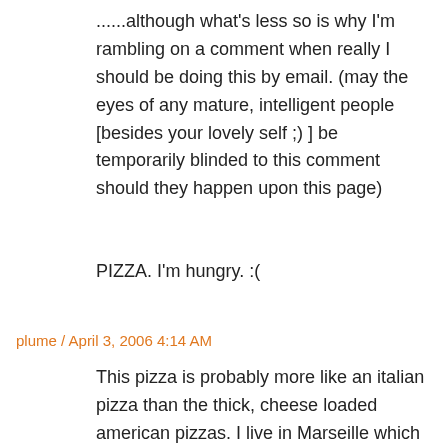......although what's less so is why I'm rambling on a comment when really I should be doing this by email. (may the eyes of any mature, intelligent people [besides your lovely self ;) ] be temporarily blinded to this comment should they happen upon this page)
PIZZA. I'm hungry. :(
plume / April 3, 2006 4:14 AM
This pizza is probably more like an italian pizza than the thick, cheese loaded american pizzas. I live in Marseille which is a great pizza city in France (thanks to italian immigration...) and here